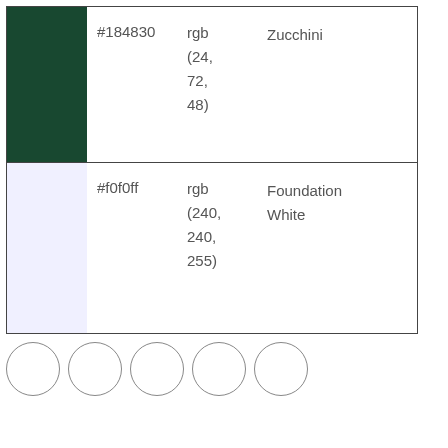| Color Swatch | Hex Code | RGB | Name |
| --- | --- | --- | --- |
| [dark green swatch] | #184830 | rgb(24, 72, 48) | Zucchini |
| [light lavender swatch] | #f0f0ff | rgb(240, 240, 255) | Foundation White |
[Figure (other): Five empty circles arranged in a horizontal row, with thin gray outlines and white fill.]